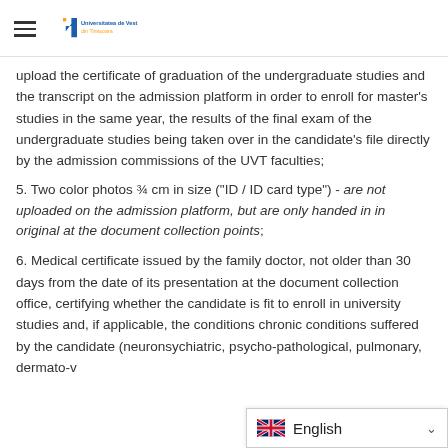Universitatea de Vest din Timișoara
upload the certificate of graduation of the undergraduate studies and the transcript on the admission platform in order to enroll for master's studies in the same year, the results of the final exam of the undergraduate studies being taken over in the candidate's file directly by the admission commissions of the UVT faculties;
5. Two color photos ¾ cm in size ("ID / ID card type") - are not uploaded on the admission platform, but are only handed in in original at the document collection points;
6. Medical certificate issued by the family doctor, not older than 30 days from the date of its presentation at the document collection office, certifying whether the candidate is fit to enroll in university studies and, if applicable, the conditions chronic conditions suffered by the candidate (neuronsychiatric, psycho-pathological, pulmonary, dermato-v